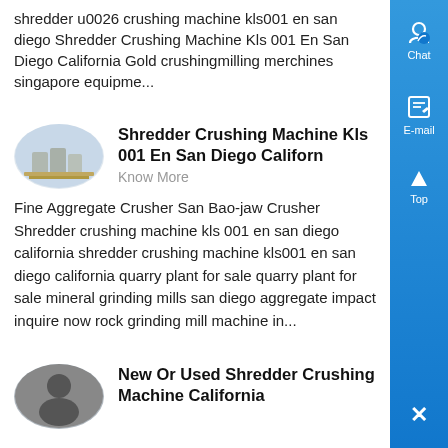shredder u0026 crushing machine kls001 en san diego Shredder Crushing Machine Kls 001 En San Diego California Gold crushingmilling merchines singapore equipme...
[Figure (photo): Oval thumbnail image of industrial crushing/shredding equipment in a field]
Shredder Crushing Machine Kls 001 En San Diego Californ
Know More
Fine Aggregate Crusher San Bao-jaw Crusher Shredder crushing machine kls 001 en san diego california shredder crushing machine kls001 en san diego california quarry plant for sale quarry plant for sale mineral grinding mills san diego aggregate impact inquire now rock grinding mill machine in...
[Figure (photo): Oval thumbnail portrait of a person (dark silhouette)]
New Or Used Shredder Crushing Machine California